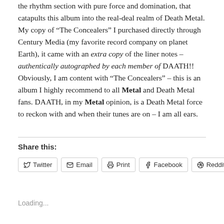the rhythm section with pure force and domination, that catapults this album into the real-deal realm of Death Metal. My copy of “The Concealers” I purchased directly through Century Media (my favorite record company on planet Earth), it came with an extra copy of the liner notes – authentically autographed by each member of DAATH!! Obviously, I am content with “The Concealers” – this is an album I highly recommend to all Metal and Death Metal fans. DAATH, in my Metal opinion, is a Death Metal force to reckon with and when their tunes are on – I am all ears.
Share this:
Twitter | Email | Print | Facebook | Reddit
Loading...